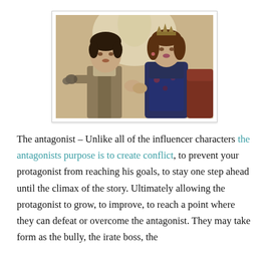[Figure (photo): A man in a vest and a woman wearing a crown/tiara, posed together in a period-drama style. The man holds something (handcuffs) and the woman is elegantly dressed.]
The antagonist – Unlike all of the influencer characters the antagonists purpose is to create conflict, to prevent your protagonist from reaching his goals, to stay one step ahead until the climax of the story. Ultimately allowing the protagonist to grow, to improve, to reach a point where they can defeat or overcome the antagonist. They may take form as the bully, the irate boss, the